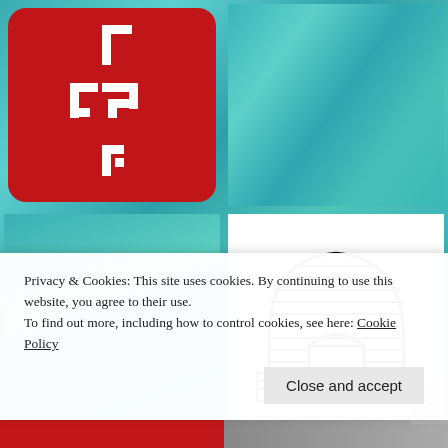[Figure (screenshot): Screenshot of a website showing a 2x2 grid of images: top-left is a red rounded-rectangle app icon with white Hebrew/decorative characters, top-right is a teal watercolor texture, bottom-left is a teal watercolor texture, bottom-right is a black and white line drawing of an Egyptian sphinx. Overlaid at the bottom is a cookie consent banner.]
Privacy & Cookies: This site uses cookies. By continuing to use this website, you agree to their use.
To find out more, including how to control cookies, see here: Cookie Policy
Close and accept